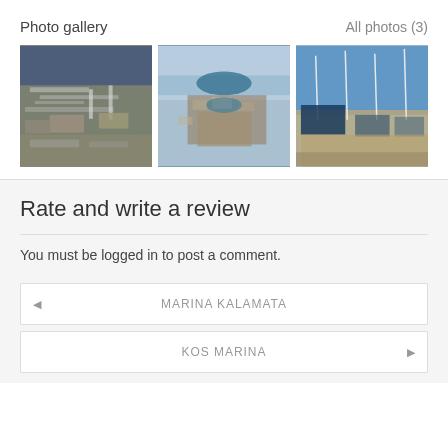Photo gallery
All photos (3)
[Figure (photo): Aerial view of a marina with boats and piers]
[Figure (photo): Aerial view of a coastal city and harbor]
[Figure (photo): Marina with sailboat masts and yachts]
Rate and write a review
You must be logged in to post a comment.
◄  MARINA KALAMATA
KOS MARINA  ►